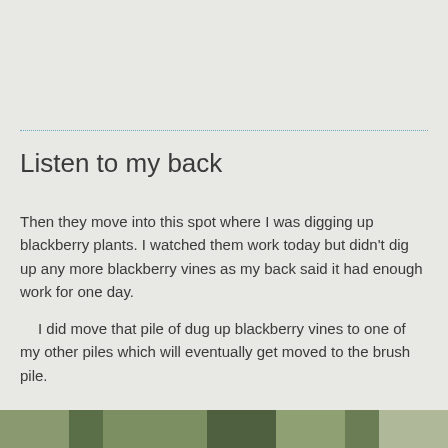Listen to my back
Then they move into this spot where I was digging up blackberry plants. I watched them work today but didn’t dig up any more blackberry vines as my back said it had enough work for one day.
I did move that pile of dug up blackberry vines to one of my other piles which will eventually get moved to the brush pile.
[Figure (photo): Partial view of an outdoor garden or yard scene with green vegetation, shown as a thin strip at the bottom of the page.]